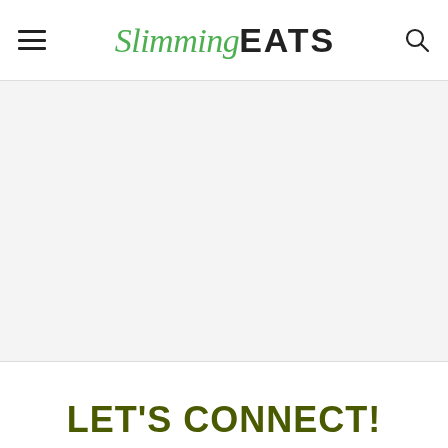Slimming EATS
[Figure (other): Large blank/content area with light gray background, likely image placeholder]
LET'S CONNECT!